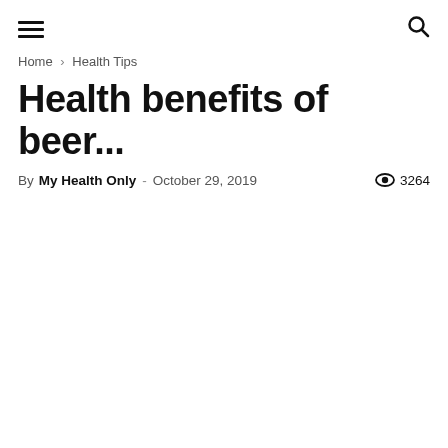≡  🔍
Home › Health Tips
Health benefits of beer...
By My Health Only - October 29, 2019  👁 3264